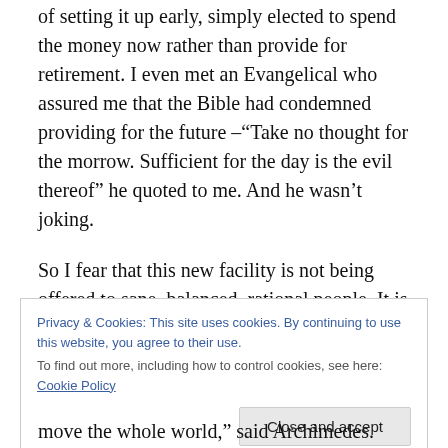of setting it up early, simply elected to spend the money now rather than provide for retirement. I even met an Evangelical who assured me that the Bible had condemned providing for the future –“Take no thought for the morrow. Sufficient for the day is the evil thereof” he quoted to me. And he wasn’t joking.
So I fear that this new facility is not being offered to sane, balanced, rational people. It is being offered to human beings. And that is a different animal.
Privacy & Cookies: This site uses cookies. By continuing to use this website, you agree to their use.
To find out more, including how to control cookies, see here: Cookie Policy
Close and accept
move the whole world,” said Archimedes.